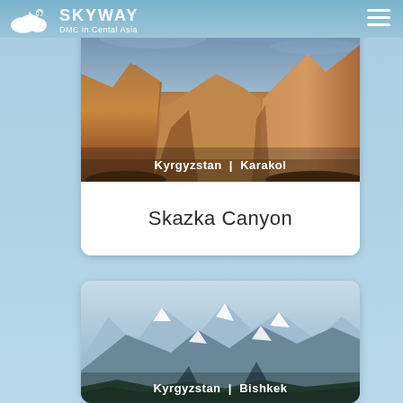[Figure (logo): Skyway DMC in Central Asia logo with cloud and airplane icon, white text on blue background]
[Figure (photo): Skazka Canyon landscape photo showing red and brown sandstone cliffs with dramatic sky]
Kyrgyzstan | Karakol
Skazka Canyon
[Figure (photo): Mountain landscape photo showing snow-capped peaks with a valley and river, Kyrgyzstan near Bishkek]
Kyrgyzstan | Bishkek